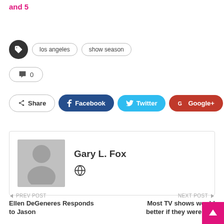and 5
los angeles
show season
0
Share  Facebook  Twitter  Google+  +
Gary L. Fox
PREV POST
Ellen DeGeneres Responds to Jason
NEXT POST
Most TV shows would better if they were abo